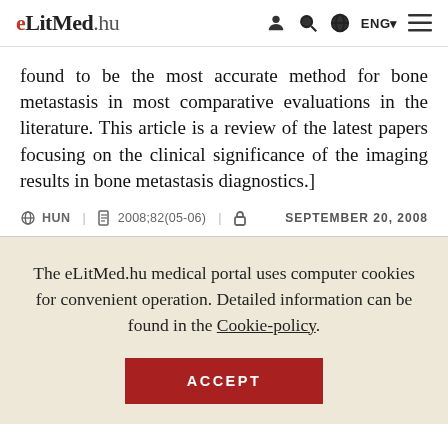eLitMed.hu — ENG
found to be the most accurate method for bone metastasis in most comparative evaluations in the literature. This article is a review of the latest papers focusing on the clinical significance of the imaging results in bone metastasis diagnostics.]
HUN | 2008;82(05-06) | SEPTEMBER 20, 2008
The eLitMed.hu medical portal uses computer cookies for convenient operation. Detailed information can be found in the Cookie-policy.
ACCEPT